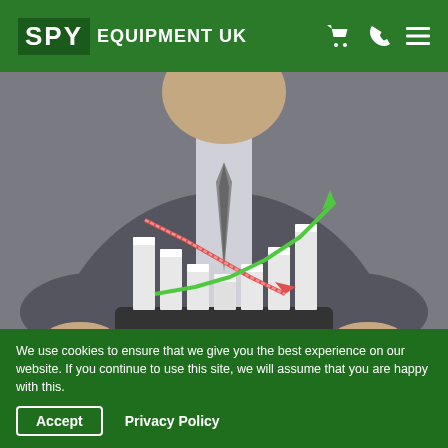SPY EQUIPMENT UK
[Figure (photo): Man in grey suit holding a tablet with 3D bar chart showing rising green arrow and falling red arrow]
We Have Just Reduced Some of Our Prices
Adrian Mudd  August 19, 2009
We use cookies to ensure that we give you the best experience on our website. If you continue to use this site, we will assume that you are happy with this.
Accept  Privacy Policy